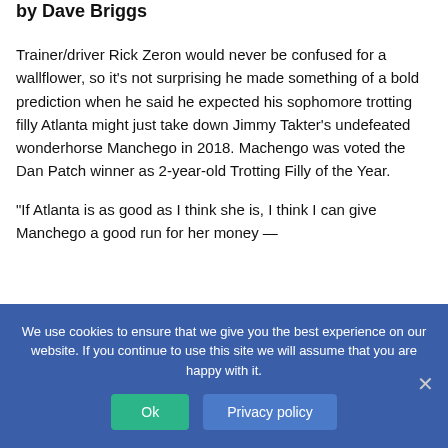by Dave Briggs
Trainer/driver Rick Zeron would never be confused for a wallflower, so it's not surprising he made something of a bold prediction when he said he expected his sophomore trotting filly Atlanta might just take down Jimmy Takter's undefeated wonderhorse Manchego in 2018. Machengo was voted the Dan Patch winner as 2-year-old Trotting Filly of the Year.
“If Atlanta is as good as I think she is, I think I can give Manchego a good run for her money —
We use cookies to ensure that we give you the best experience on our website. If you continue to use this site we will assume that you are happy with it.